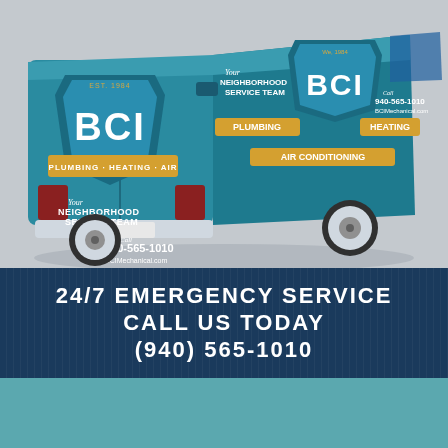[Figure (photo): BCI Plumbing Heating Air service van with teal/blue wrap showing company logo, phone number 940-565-1010, BCIMechanical.com, and tagline 'Your Neighborhood Service Team']
24/7 EMERGENCY SERVICE
CALL US TODAY
(940) 565-1010
SEND US A MESSAGE